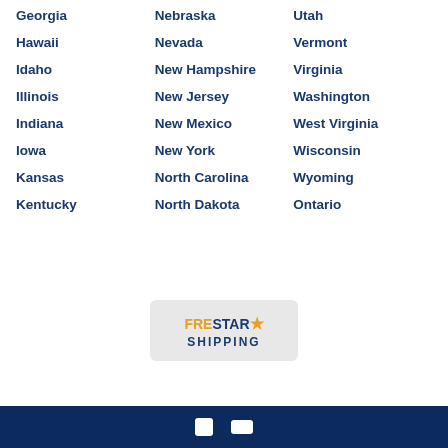Georgia
Nebraska
Utah
Hawaii
Nevada
Vermont
Idaho
New Hampshire
Virginia
Illinois
New Jersey
Washington
Indiana
New Mexico
West Virginia
Iowa
New York
Wisconsin
Kansas
North Carolina
Wyoming
Kentucky
North Dakota
Ontario
[Figure (logo): FRESTAR SHIPPING logo in a light gray rounded box]